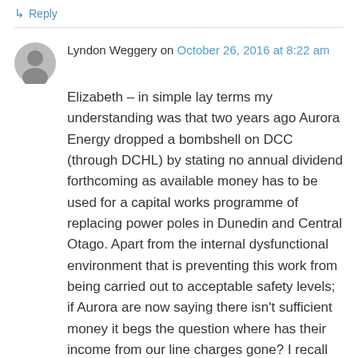↳ Reply
Lyndon Weggery on October 26, 2016 at 8:22 am
Elizabeth – in simple lay terms my understanding was that two years ago Aurora Energy dropped a bombshell on DCC (through DCHL) by stating no annual dividend forthcoming as available money has to be used for a capital works programme of replacing power poles in Dunedin and Central Otago. Apart from the internal dysfunctional environment that is preventing this work from being carried out to acceptable safety levels; if Aurora are now saying there isn't sufficient money it begs the question where has their income from our line charges gone? I recall their